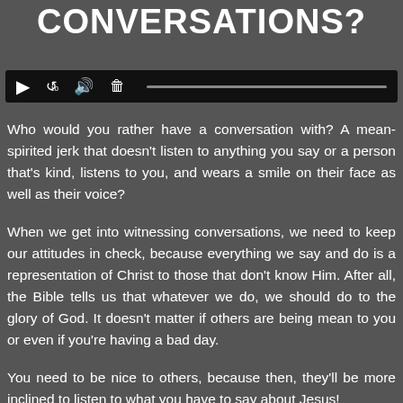CONVERSATIONS?
[Figure (screenshot): Audio player media bar with play button, replay 10s, volume, and delete icons, plus a progress bar on dark background]
Who would you rather have a conversation with? A mean-spirited jerk that doesn't listen to anything you say or a person that's kind, listens to you, and wears a smile on their face as well as their voice?
When we get into witnessing conversations, we need to keep our attitudes in check, because everything we say and do is a representation of Christ to those that don't know Him. After all, the Bible tells us that whatever we do, we should do to the glory of God. It doesn't matter if others are being mean to you or even if you're having a bad day.
You need to be nice to others, because then, they'll be more inclined to listen to what you have to say about Jesus!